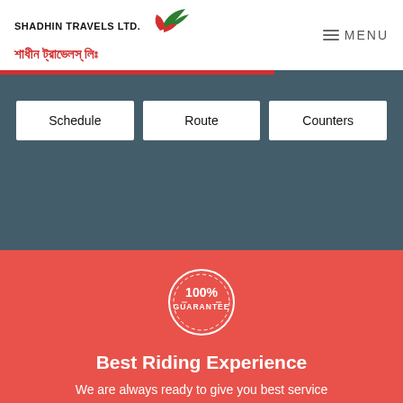[Figure (logo): Shadhin Travels Ltd. logo with green and red bird/leaf graphic and Bengali text]
[Figure (screenshot): Navigation menu button with hamburger icon and MENU text]
[Figure (photo): Hero background image showing a road/transport scene with dark overlay and red bar]
Schedule
Route
Counters
[Figure (infographic): 100% Guarantee badge/seal in white on red background]
Best Riding Experience
We are always ready to give you best service